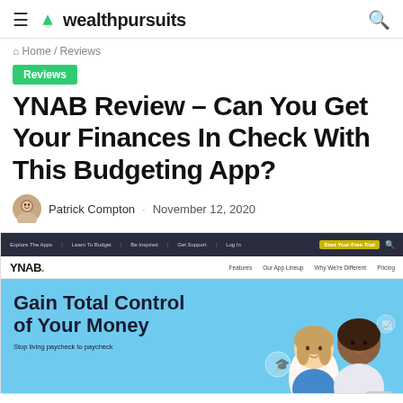wealthpursuits
Home / Reviews
Reviews
YNAB Review – Can You Get Your Finances In Check With This Budgeting App?
Patrick Compton · November 12, 2020
[Figure (screenshot): Screenshot of YNAB website homepage showing navigation bar with 'Explore The Apps', 'Learn To Budget', 'Be Inspired', 'Get Support', 'Log In', 'Start Your Free Trial' links, and hero section with 'YNAB.' logo and 'Gain Total Control of Your Money' headline on a light blue background with illustrated characters]